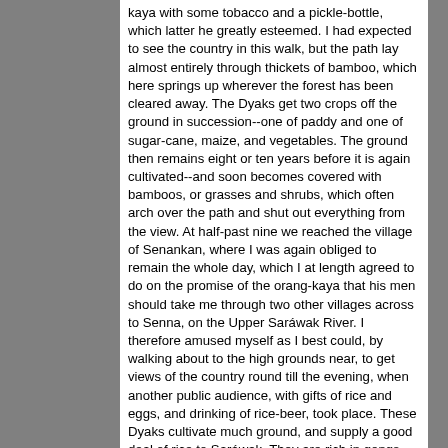kaya with some tobacco and a pickle-bottle, which latter he greatly esteemed. I had expected to see the country in this walk, but the path lay almost entirely through thickets of bamboo, which here springs up wherever the forest has been cleared away. The Dyaks get two crops off the ground in succession--one of paddy and one of sugar-cane, maize, and vegetables. The ground then remains eight or ten years before it is again cultivated--and soon becomes covered with bamboos, or grasses and shrubs, which often arch over the path and shut out everything from the view. At half-past nine we reached the village of Senankan, where I was again obliged to remain the whole day, which I at length agreed to do on the promise of the orang-kaya that his men should take me through two other villages across to Senna, on the Upper Saráwak River. I therefore amused myself as I best could, by walking about to the high grounds near, to get views of the country round till the evening, when another public audience, with gifts of rice and eggs, and drinking of rice-beer, took place. These Dyaks cultivate much ground, and supply a good deal of rice to Saráwak. They are rich in gongs, brass trays, wire, silver coins, and all such articles in which a Dyak's wealth consists, and their women and